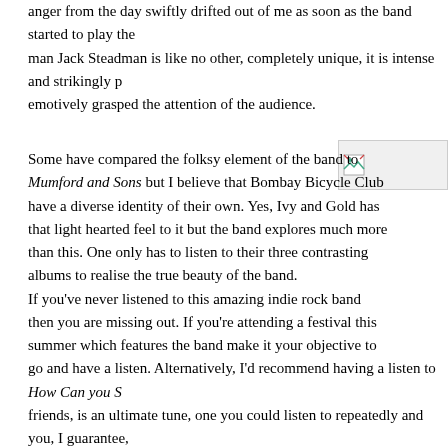anger from the day swiftly drifted out of me as soon as the band started to play their man Jack Steadman is like no other, completely unique, it is intense and strikingly p emotively grasped the attention of the audience.
[Figure (photo): Small image placeholder with broken image icon in upper right area of page]
Some have compared the folksy element of the band to Mumford and Sons but I believe that Bombay Bicycle Club have a diverse identity of their own. Yes, Ivy and Gold has that light hearted feel to it but the band explores much more than this. One only has to listen to their three contrasting albums to realise the true beauty of the band. If you've never listened to this amazing indie rock band then you are missing out. If you're attending a festival this summer which features the band make it your objective to go and have a listen. Alternatively, I'd recommend having a listen to How Can you S friends, is an ultimate tune, one you could listen to repeatedly and you, I guarantee, under your skin in a drifting, dream-like manner, not in an irritating pop song kind o Together with the music, Steadman's voice is infectious; the atmosphere outstanding before I knew it and I had long finished my one pint without even realising. My night did not end here, after a few too many shots of Sambuca on a crawl aroun in my old trusty favourite club, Bumper – on Hardman Street where Bombay Bicycl mate who does sound for many bands offered me the chance to go meet them in VI